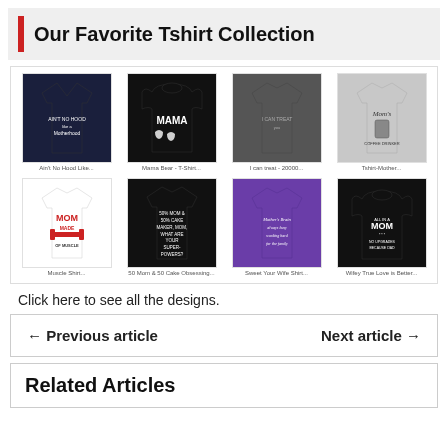Our Favorite Tshirt Collection
[Figure (illustration): Grid of 8 t-shirt and hoodie product images arranged in 2 rows of 4. Row 1: navy v-neck shirt with text, black hoodie with bear graphic, dark grey t-shirt, grey t-shirt with 'Mom's' text. Row 2: white t-shirt with 'MOM MADE OF MUSCLE' text, black t-shirt with text, purple t-shirt with text, black hoodie with 'MOM' text.]
Click here to see all the designs.
← Previous article
Next article →
Related Articles